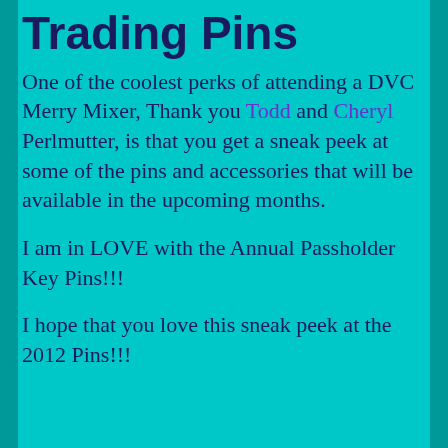Trading Pins
One of the coolest perks of attending a DVC Merry Mixer, Thank you Todd and Cheryl Perlmutter, is that you get a sneak peek at some of the pins and accessories that will be available in the upcoming months.
I am in LOVE with the Annual Passholder Key Pins!!!
I hope that you love this sneak peek at the 2012 Pins!!!